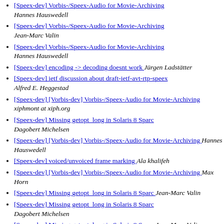[Speex-dev] Vorbis-/Speex-Audio for Movie-Archiving  Hannes Hauswedell
[Speex-dev] Vorbis-/Speex-Audio for Movie-Archiving  Jean-Marc Valin
[Speex-dev] Vorbis-/Speex-Audio for Movie-Archiving  Hannes Hauswedell
[Speex-dev] encoding -> decoding doesnt work  Jürgen Ladstätter
[Speex-dev] ietf discussion about draft-ietf-avt-rtp-speex  Alfred E. Heggestad
[Speex-dev] [Vorbis-dev] Vorbis-/Speex-Audio for Movie-Archiving  xiphmont at xiph.org
[Speex-dev] Missing getopt_long in Solaris 8 Sparc  Dagobert Michelsen
[Speex-dev] [Vorbis-dev] Vorbis-/Speex-Audio for Movie-Archiving  Hannes Hauswedell
[Speex-dev] voiced/unvoiced frame marking  Ala khalifeh
[Speex-dev] [Vorbis-dev] Vorbis-/Speex-Audio for Movie-Archiving  Max Horn
[Speex-dev] Missing getopt_long in Solaris 8 Sparc  Jean-Marc Valin
[Speex-dev] Missing getopt_long in Solaris 8 Sparc  Dagobert Michelsen
[Speex-dev] Missing getopt_long in Solaris 8 Sparc  Jean-Marc Valin
[Speex-dev] ietf discussion about draft-ietf-avt-rtp-...